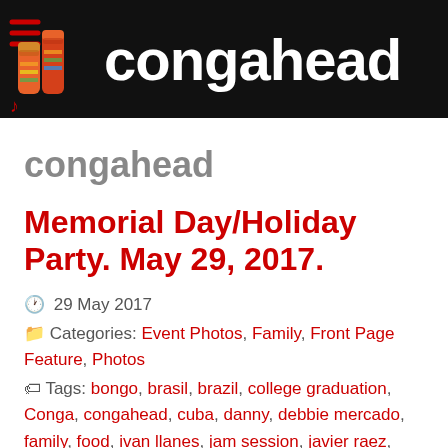[Figure (logo): Congahead logo with conga drum icon and white text 'congahead' on black background]
congahead
Memorial Day/Holiday Party. May 29, 2017.
29 May 2017
Categories: Event Photos, Family, Front Page Feature, Photos
Tags: bongo, brasil, brazil, college graduation, Conga, congahead, cuba, danny, debbie mercado, family, food, ivan llanes, jam session, javier raez, martin cohen, Matthew, MEMORIAL Day, miho, muriel